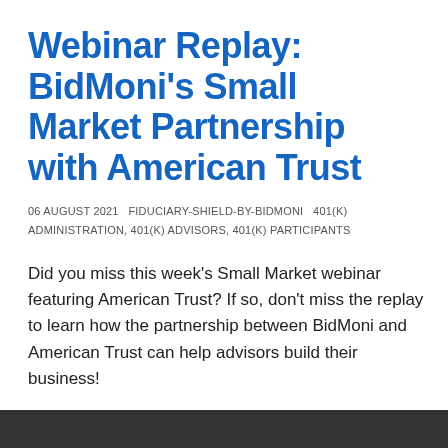Webinar Replay: BidMoni's Small Market Partnership with American Trust
06 AUGUST 2021   FIDUCIARY-SHIELD-BY-BIDMONI   401(K) ADMINISTRATION, 401(K) ADVISORS, 401(K) PARTICIPANTS
Did you miss this week's Small Market webinar featuring American Trust? If so, don't miss the replay to learn how the partnership between BidMoni and American Trust can help advisors build their business!